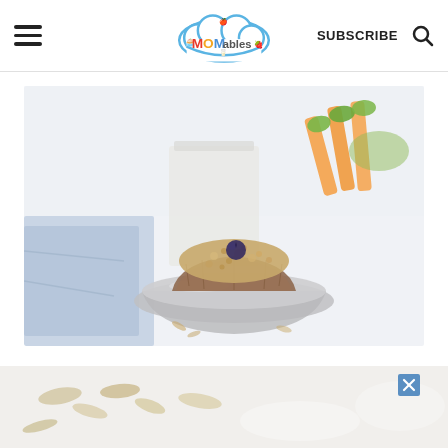MOMables — SUBSCRIBE [search icon]
[Figure (photo): Close-up food photo of a bran or oat muffin in a brown paper liner placed in a metal tin/bowl, topped with a blueberry. In the background is a blue fabric napkin, a white paper bag or wrapper, and carrot sticks with green leafy tops. The overall image is soft and bright with a white background.]
[Figure (photo): Partial bottom photo showing what appears to be granola or oat-based food items on a light surface, cut off by page edge. An ad close button (blue X) is visible in the upper right of this section.]